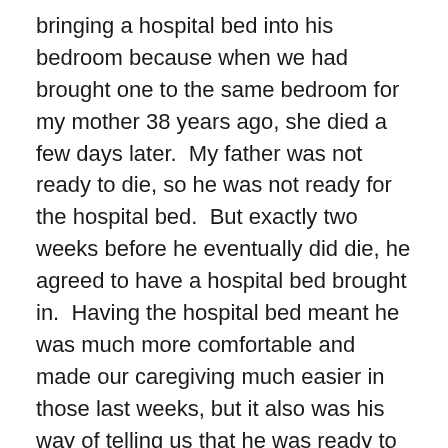bringing a hospital bed into his bedroom because when we had brought one to the same bedroom for my mother 38 years ago, she died a few days later.  My father was not ready to die, so he was not ready for the hospital bed.  But exactly two weeks before he eventually did die, he agreed to have a hospital bed brought in.  Having the hospital bed meant he was much more comfortable and made our caregiving much easier in those last weeks, but it also was his way of telling us that he was ready to die.
We decided to use the outpatient services of a hospice organization, which immediately sent a nurse and a social worker out to my father's house once they were called.  They prescribed and monitored anxiety and pain medication to make sure my father would be comfortable.  They sent a home health aide to help change and bathe him.  Perhaps most useful, they had a phone advice line